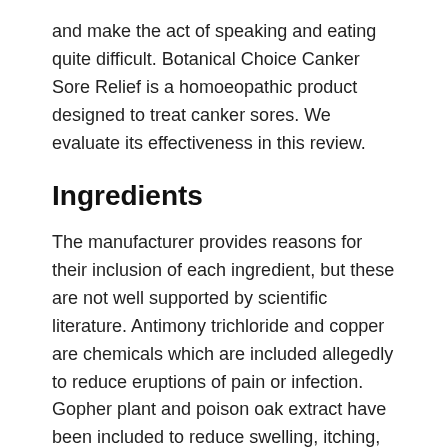and make the act of speaking and eating quite difficult. Botanical Choice Canker Sore Relief is a homoeopathic product designed to treat canker sores. We evaluate its effectiveness in this review.
Ingredients
The manufacturer provides reasons for their inclusion of each ingredient, but these are not well supported by scientific literature. Antimony trichloride and copper are chemicals which are included allegedly to reduce eruptions of pain or infection. Gopher plant and poison oak extract have been included to reduce swelling, itching, scaling and burning. The final ingredient which has the most scientific evidence to support it is propolis.